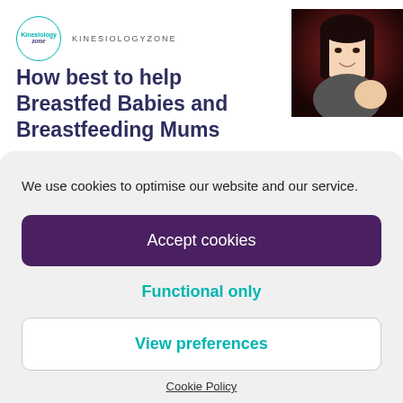[Figure (logo): Kinesiology Zone circular logo with teal border]
How best to help Breastfed Babies and Breastfeeding Mums
[Figure (photo): Woman with dark hair smiling, holding a baby, against dark background]
We use cookies to optimise our website and our service.
Accept cookies
Functional only
View preferences
Cookie Policy